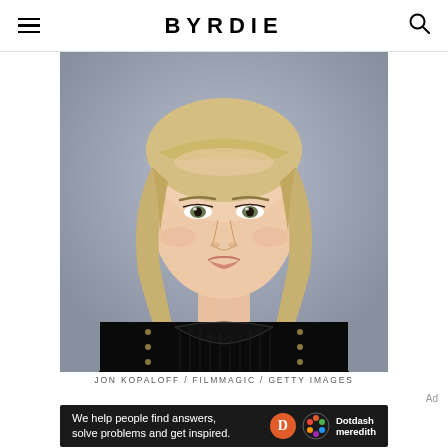BYRDIE
[Figure (photo): Close-up portrait of a woman with blonde shoulder-length hair wearing a black studded leather top, against a light blue-grey background. Red carpet style photo.]
JON KOPALOFF / FILMMAGIC / GETTY IMAGES
Ad
[Figure (other): Dotdash Meredith advertisement banner reading: We help people find answers, solve problems and get inspired.]